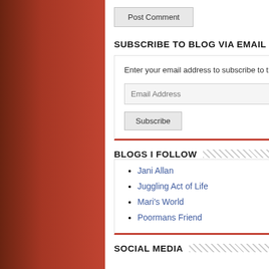Post Comment
SUBSCRIBE TO BLOG VIA EMAIL
Enter your email address to subscribe to this blog and receive notifications of new posts by email.
Email Address
Subscribe
BLOGS I FOLLOW
Jani Allan
Juggling Act of Life
Mari's World
Poormans Friend
SOCIAL MEDIA